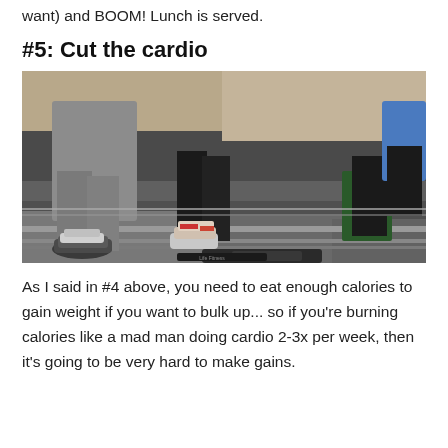want) and BOOM! Lunch is served.
#5: Cut the cardio
[Figure (photo): People running on treadmills in a gym, showing legs and feet with sneakers on Life Fitness treadmills]
As I said in #4 above, you need to eat enough calories to gain weight if you want to bulk up... so if you're burning calories like a mad man doing cardio 2-3x per week, then it's going to be very hard to make gains.